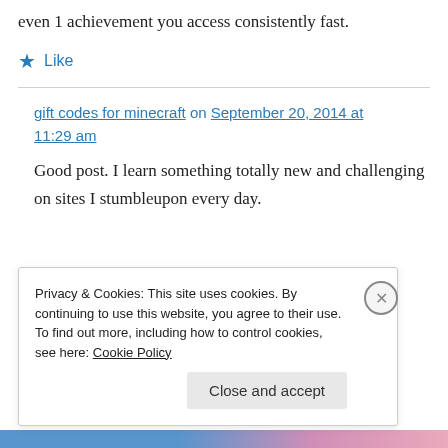even 1 achievement you access consistently fast.
★ Like
gift codes for minecraft on September 20, 2014 at 11:29 am
Good post. I learn something totally new and challenging on sites I stumbleupon every day.
Privacy & Cookies: This site uses cookies. By continuing to use this website, you agree to their use.
To find out more, including how to control cookies, see here: Cookie Policy
[Close and accept]